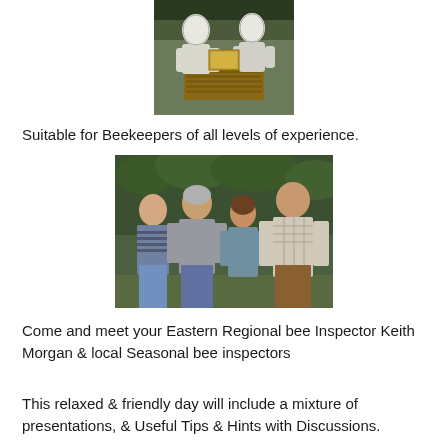[Figure (photo): Two beekeepers in protective suits working with a beehive box outdoors]
Suitable for Beekeepers of all levels of experience.
[Figure (photo): Four people (bee inspectors) standing together outdoors with green foliage in the background]
Come and meet your Eastern Regional bee Inspector Keith Morgan & local Seasonal bee inspectors
This relaxed & friendly day will include a mixture of presentations, & Useful Tips & Hints with Discussions.